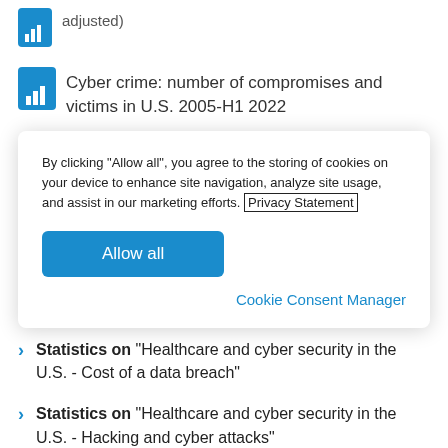adjusted)
Cyber crime: number of compromises and victims in U.S. 2005-H1 2022
By clicking “Allow all”, you agree to the storing of cookies on your device to enhance site navigation, analyze site usage, and assist in our marketing efforts. Privacy Statement
Allow all
Cookie Consent Manager
Statistics on "Healthcare and cyber security in the U.S. - Cost of a data breach"
Statistics on "Healthcare and cyber security in the U.S. - Hacking and cyber attacks"
Statistics on "Healthcare and cyber security in